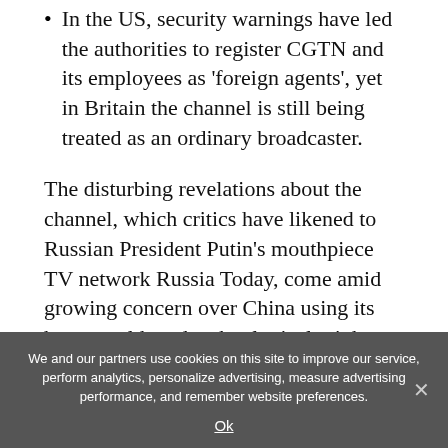In the US, security warnings have led the authorities to register CGTN and its employees as 'foreign agents', yet in Britain the channel is still being treated as an ordinary broadcaster.
The disturbing revelations about the channel, which critics have likened to Russian President Putin's mouthpiece TV network Russia Today, come amid growing concern over China using its huge wealth and technological might to gain ever greater influence abroad.
We and our partners use cookies on this site to improve our service, perform analytics, personalize advertising, measure advertising performance, and remember website preferences.